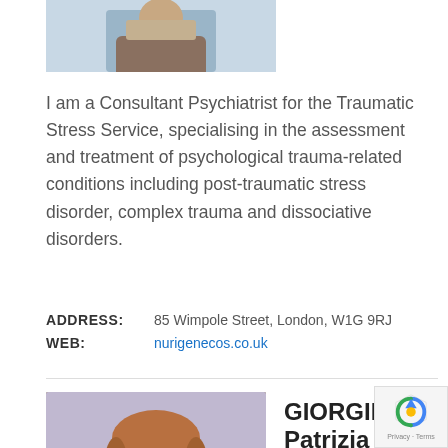[Figure (photo): Partial photo of a person seated, arms/torso visible, cropped at top of page]
I am a Consultant Psychiatrist for the Traumatic Stress Service, specialising in the assessment and treatment of psychological trauma-related conditions including post-traumatic stress disorder, complex trauma and dissociative disorders.
ADDRESS: 85 Wimpole Street, London, W1G 9RJ
WEB: nurigenecos.co.uk
[Figure (photo): Portrait photo of GIORGINI Patrizia, a woman with reddish-brown hair, wearing a dark jacket]
GIORGINI Patrizia
Psychiatre Psychothérapeute FMH
Certified Therapists   Trained Therapists